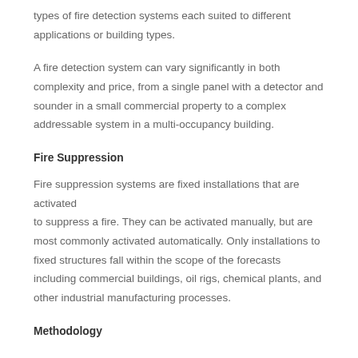types of fire detection systems each suited to different applications or building types.
A fire detection system can vary significantly in both complexity and price, from a single panel with a detector and sounder in a small commercial property to a complex addressable system in a multi-occupancy building.
Fire Suppression
Fire suppression systems are fixed installations that are activated to suppress a fire. They can be activated manually, but are most commonly activated automatically. Only installations to fixed structures fall within the scope of the forecasts including commercial buildings, oil rigs, chemical plants, and other industrial manufacturing processes.
Methodology